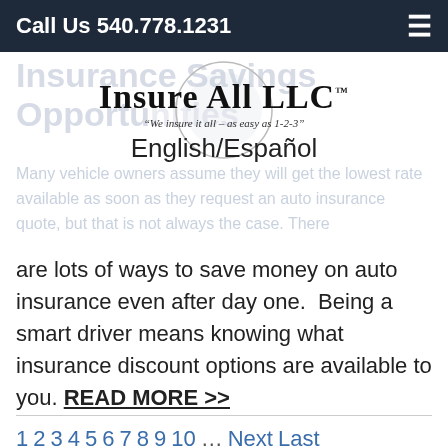Call Us 540.778.1231
[Figure (logo): Insure All LLC logo with tagline 'We insure it all - as easy as 1-2-3' and English/Español language selector]
Insurance Savings Opportunities
Many vehicle owners assume they will get the lowest rate available as soon as they request an auto insurance quote, but that is not always the case. There are lots of ways to save money on auto insurance even after day one. Being a smart driver means knowing what insurance discount options are available to you. READ MORE >>
1 2 3 4 5 6 7 8 9 10 … Next Last
[Figure (logo): Nationwide insurance logo at bottom]
[Figure (logo): Accessibility icon (wheelchair symbol) bottom left]